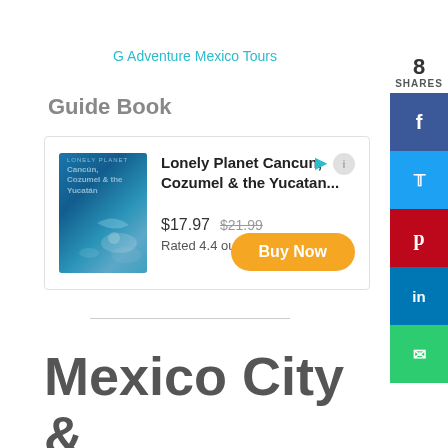G Adventure Mexico Tours
Guide Book
[Figure (other): Book advertisement card for Lonely Planet Cancun, Cozumel & the Yucatan with book cover image, price $17.97 (was $21.99), rating 4.4 out of 5, and Buy Now button]
Mexico City &
[Figure (infographic): Social sharing sidebar with share count 8 SHARES and buttons for Facebook, Twitter, Pinterest, LinkedIn, and Email]